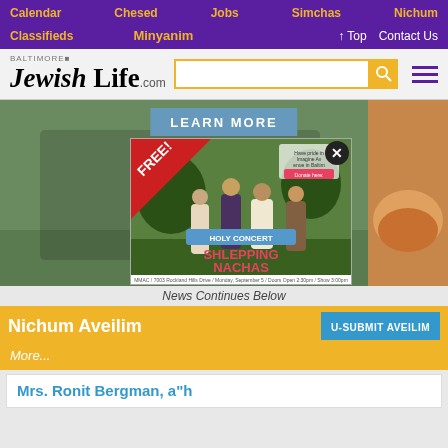Calendar  Chesed  Jobs  Simchas  Nichum
Classifieds  Minyanim  ↑ Top  Contact Us
BALTIMORE Jewish Life .com
[Figure (photo): Popup advertisement for a free Holy Concert featuring Shlepping Nachas band outdoors. Text: FREE! HOLY CONCERT PRESENTS SHLEPPING NACHAS. MMAC / 7003 Rockland Hills Drive / Monday, September 5 / Doors Open 2:30pm / Show 3:00pm. Donate here: mrnee.org/giving. Close (X) button in top right of popup.]
News Continues Below
Nichum Aveilim
More...
Mrs. Ronit Bergman, a"h